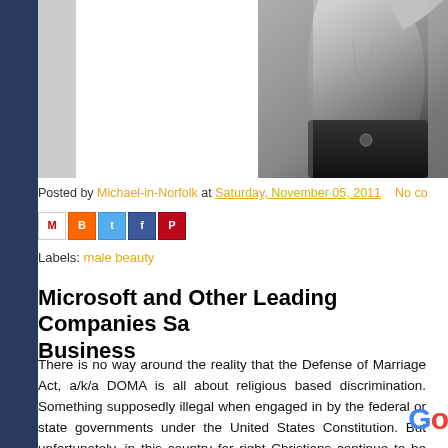[Figure (photo): Black and white cropped photo of a shirtless male torso with dark pants, arm raised]
Posted by Michael-in-Norfolk at Saturday, November 05, 2011   No co
[Figure (screenshot): Social sharing icons: Gmail, Blogger, Twitter, Facebook, Pinterest]
Labels: male beauty
Microsoft and Other Leading Companies Sa Business
There is no way around the reality that the Defense of Marriage Act, a/k/a DOMA is all about religious based discrimination. Something supposedly illegal when engaged in by the federal or state governments under the United States Constitution. But unfortunately, in this country far right Christians continue to be afforded special rights and those who don't conform to far right religious beliefs pay a price, with LGBT citizens being particularly punished for their